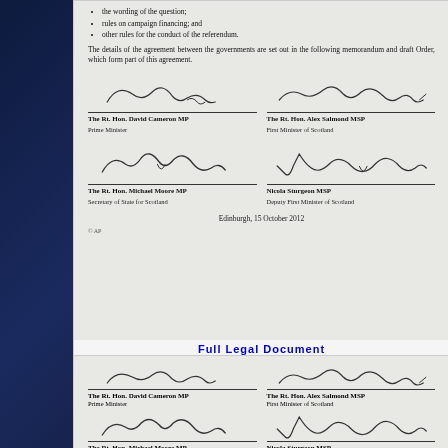the wording of the question;
rules on campaign financing; and
other rules for the conduct of the referendum.
The details of the agreement between the governments are set out in the following memorandum and draft Order, which form part of this agreement.
[Figure (other): Signature of The Rt. Hon. David Cameron MP, Prime Minister]
[Figure (other): Signature of The Rt. Hon. Alex Salmond MSP, First Minister of Scotland]
[Figure (other): Signature of The Rt. Hon. Michael Moore MP, Secretary of State for Scotland]
[Figure (other): Signature of Nicola Sturgeon MSP, Deputy First Minister of Scotland]
Edinburgh, 15 October 2012
© AP
Full Legal Document
[Figure (other): Signature of The Rt. Hon. David Cameron MP, Prime Minister (second copy)]
[Figure (other): Signature of The Rt. Hon. Alex Salmond MSP, First Minister of Scotland (second copy)]
[Figure (other): Signature of The Rt. Hon. Michael Moore MP, Secretary of State for Scotland (second copy)]
[Figure (other): Signature of Nicola Sturgeon MSP, Deputy First Minister of Scotland (second copy)]